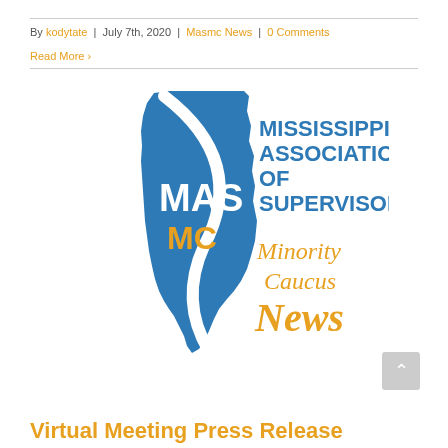By kodytate | July 7th, 2020 | Masmc News | 0 Comments
Read More
[Figure (logo): Mississippi Association of Supervisors Minority Caucus News (MAS MC) logo — blue Mississippi state silhouette with white ribbon, MAS MC text in white and orange, and orange/blue text reading MISSISSIPPI ASSOCIATION OF SUPERVISORS Minority Caucus News]
Virtual Meeting Press Release